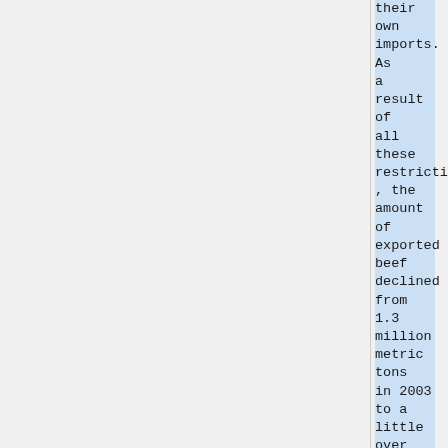their own imports. As a result of all these restrictions, the amount of exported beef declined from 1.3 million metric tons in 2003 to a little over 300,000 metric tons in 2004. However, this value was able to increase to a little